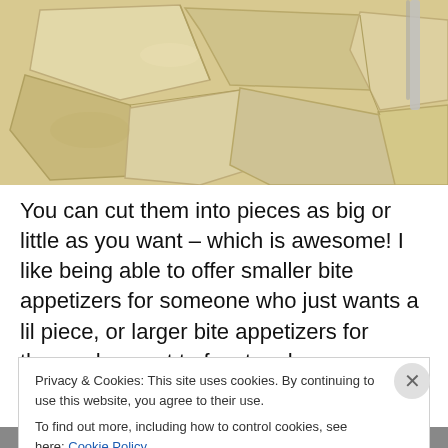[Figure (photo): Close-up photo of pale beige stone or flatbread pieces cut into irregular shapes, viewed from above on a light surface, with a metal utensil visible at the upper right edge.]
You can cut them into pieces as big or little as you want – which is awesome! I like being able to offer smaller bite appetizers for someone who just wants a lil piece, or larger bite appetizers for those who want to feast on heavy
Privacy & Cookies: This site uses cookies. By continuing to use this website, you agree to their use.
To find out more, including how to control cookies, see here: Cookie Policy
Close and accept